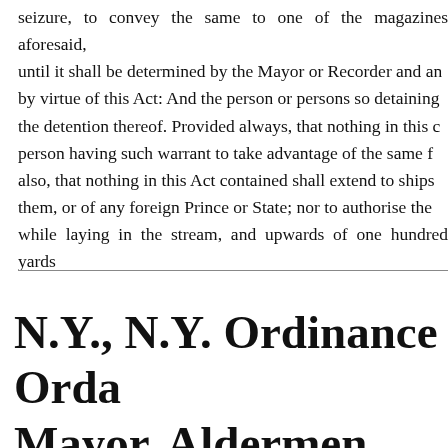seizure, to convey the same to one of the magazines aforesaid, until it shall be determined by the Mayor or Recorder and an by virtue of this Act: And the person or persons so detaining the detention thereof. Provided always, that nothing in this c person having such warrant to take advantage of the same f also, that nothing in this Act contained shall extend to ships them, or of any foreign Prince or State; nor to authorise the while laying in the stream, and upwards of one hundred yards
N.Y., N.Y. Ordinance Orda Mayor, Aldermen and Co New York, in a, 119-119